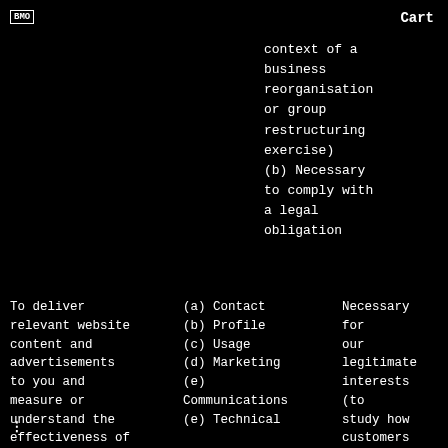Cart
context of a business reorganisation or group restructuring exercise)
(b) Necessary to comply with a legal obligation
To deliver relevant website content and advertisements to you and measure or understand the effectiveness of
(a) Contact
(b) Profile
(c) Usage
(d) Marketing
(e) Communications
(e) Technical
Necessary for our legitimate interests (to study how customers use our products, to develop them, to grow
⁝